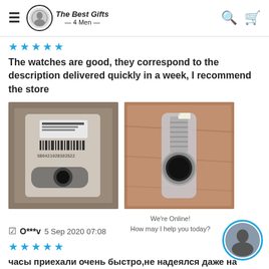The Best Gifts 4 Men
The watches are good, they correspond to the description delivered quickly in a week, I recommend the store
[Figure (photo): Two photos of a watch in packaging: left shows a sealed plastic bag with a label/barcode, right shows a watch in clear plastic on a wooden surface.]
O***v 5 Sep 2020 07:08
часы приехали очень быстро,не надеялся даже на такие сроки! упаковано аккуратно сборка хорошая, рос имают! за свои деньги